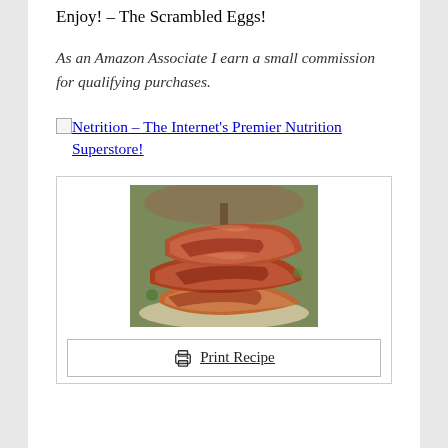Enjoy! – The Scrambled Eggs!
As an Amazon Associate I earn a small commission for qualifying purchases.
Netrition – The Internet's Premier Nutrition Superstore!
[Figure (photo): Photo of bacon-wrapped chicken drumsticks stacked on a plate, taken outdoors under a patio umbrella]
Print Recipe